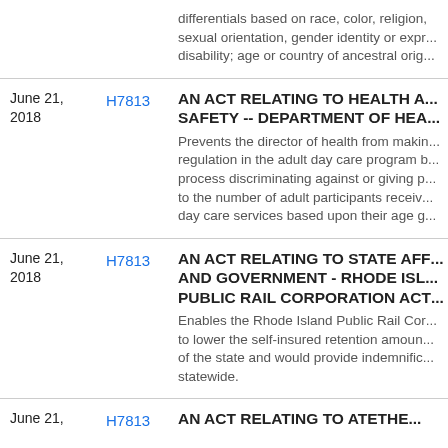| Date | Bill | Description |
| --- | --- | --- |
|  |  | differentials based on race, color, religion, sexual orientation, gender identity or expr..., disability; age or country of ancestral orig... |
| June 21, 2018 | H7813 | AN ACT RELATING TO HEALTH AND SAFETY -- DEPARTMENT OF HEA...
Prevents the director of health from maki... regulation in the adult day care program b... process discriminating against or giving p... to the number of adult participants receiv... day care services based upon their age g... |
| June 21, 2018 | H7813 | AN ACT RELATING TO STATE AFF... AND GOVERNMENT - RHODE ISL... PUBLIC RAIL CORPORATION ACT...
Enables the Rhode Island Public Rail Cor... to lower the self-insured retention amoun... of the state and would provide indemnific... statewide. |
| June 21, | H7813 | AN ACT RELATING TO ATETHE... |